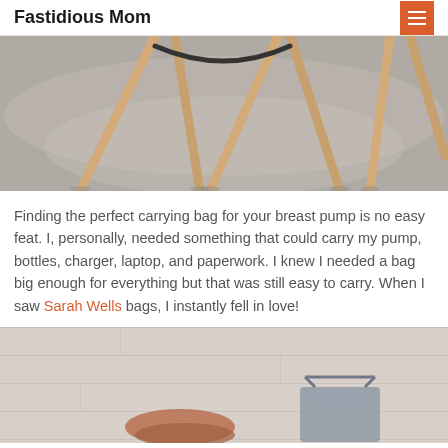Fastidious Mom
[Figure (photo): Close-up photo of chair legs on a light gray textured carpet, showing wooden chair legs from multiple chairs arranged on the rug.]
Finding the perfect carrying bag for your breast pump is no easy feat. I, personally, needed something that could carry my pump, bottles, charger, laptop, and paperwork. I knew I needed a bag big enough for everything but that was still easy to carry. When I saw Sarah Wells bags, I instantly fell in love!
[Figure (photo): Partial photo showing a person sitting on a light wood-toned floor, partially visible from the waist down, next to what appears to be a bag.]